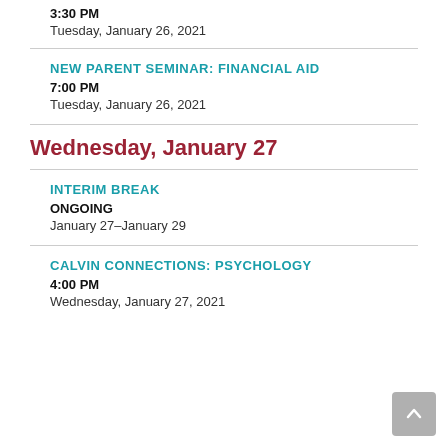3:30 PM
Tuesday, January 26, 2021
NEW PARENT SEMINAR: FINANCIAL AID
7:00 PM
Tuesday, January 26, 2021
Wednesday, January 27
INTERIM BREAK
ONGOING
January 27–January 29
CALVIN CONNECTIONS: PSYCHOLOGY
4:00 PM
Wednesday, January 27, 2021